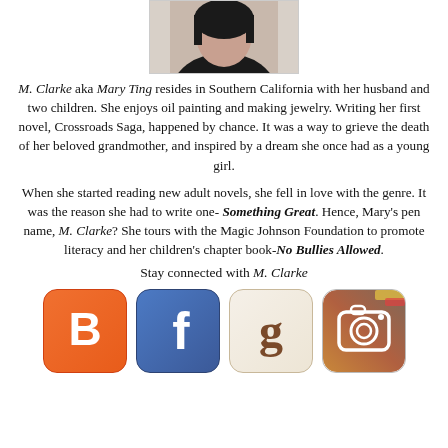[Figure (photo): Partial photo of a woman with dark hair, cropped at top of page]
M. Clarke aka Mary Ting resides in Southern California with her husband and two children. She enjoys oil painting and making jewelry. Writing her first novel, Crossroads Saga, happened by chance. It was a way to grieve the death of her beloved grandmother, and inspired by a dream she once had as a young girl.
When she started reading new adult novels, she fell in love with the genre. It was the reason she had to write one- Something Great. Hence, Mary's pen name, M. Clarke? She tours with the Magic Johnson Foundation to promote literacy and her children's chapter book-No Bullies Allowed.
Stay connected with M. Clarke
[Figure (logo): Blogger logo (orange rounded square with white B)]
[Figure (logo): Facebook logo (blue rounded square with white f)]
[Figure (logo): Goodreads logo (beige rounded square with brown g)]
[Figure (logo): Instagram logo (brown/tan rounded square with camera icon)]